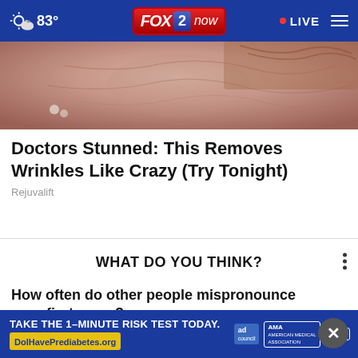83° FOX 2 now • LIVE
[Figure (photo): Close-up of elderly person's face/neck skin showing wrinkles and texture]
Doctors Stunned: This Removes Wrinkles Like Crazy (Try Tonight)
Rejuvalift
WHAT DO YOU THINK?
How often do other people mispronounce your first name?
[Figure (infographic): Bottom advertisement banner: TAKE THE 1-MINUTE RISK TEST TODAY. DolHavePrediabetes.org — with ad council, AMA, and CDC logos]